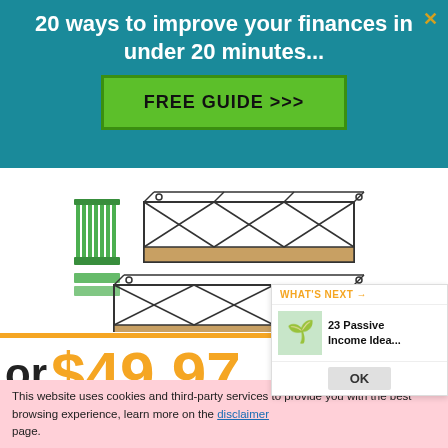20 ways to improve your finances in under 20 minutes...
FREE GUIDE >>>
[Figure (photo): Product image of geometric metal wall shelves with wood base, shown in two pieces, along with mounting hardware (screws and drill bits)]
or $49.97
ic Wood Wall Sh...
This website uses cookies and third-party services to provide you with the best browsing experience, learn more on the disclaimer page.
WHAT'S NEXT → 23 Passive Income Idea...
OK